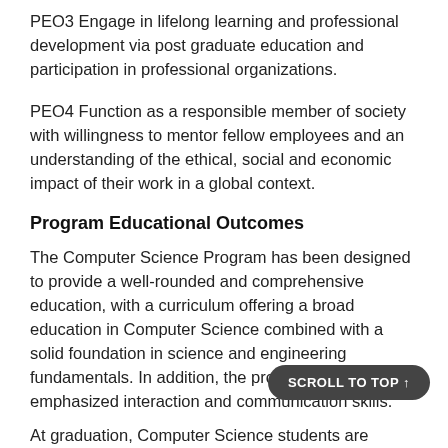PEO3 Engage in lifelong learning and professional development via post graduate education and participation in professional organizations.
PEO4 Function as a responsible member of society with willingness to mentor fellow employees and an understanding of the ethical, social and economic impact of their work in a global context.
Program Educational Outcomes
The Computer Science Program has been designed to provide a well-rounded and comprehensive education, with a curriculum offering a broad education in Computer Science combined with a solid foundation in science and engineering fundamentals. In addition, the program has emphasized interaction and communication skills.
At graduation, Computer Science students are